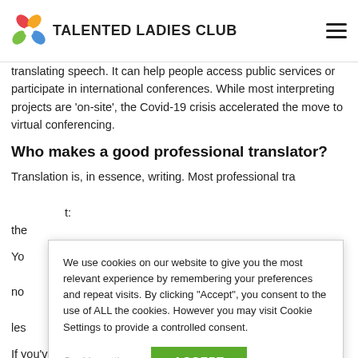TALENTED LADIES CLUB
translating speech. It can help people access public services or participate in international conferences. While most interpreting projects are 'on-site', the Covid-19 crisis accelerated the move to virtual conferencing.
Who makes a good professional translator?
Translation is, in essence, writing. Most professional tra... t: the...
You... and... o-no... les...
If you've learned a language to degree level (around C1-C2 in the...
We use cookies on our website to give you the most relevant experience by remembering your preferences and repeat visits. By clicking "Accept", you consent to the use of ALL the cookies. However you may visit Cookie Settings to provide a controlled consent.